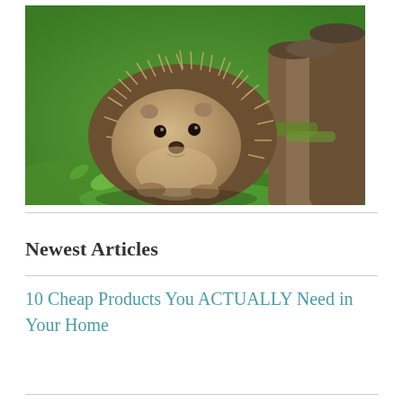[Figure (photo): A hedgehog facing the camera outdoors, surrounded by green grass and leaves, with mossy wooden logs in the background.]
Newest Articles
10 Cheap Products You ACTUALLY Need in Your Home